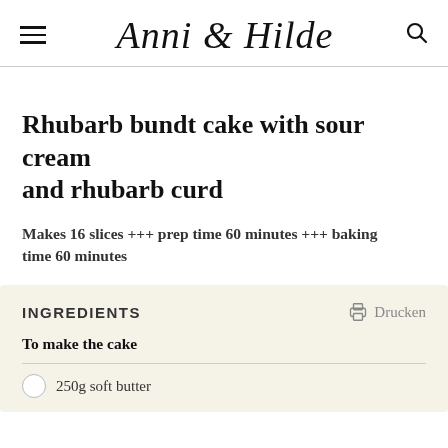Anni & Hilde
Rhubarb bundt cake with sour cream and rhubarb curd
Makes 16 slices +++ prep time 60 minutes +++ baking time 60 minutes
INGREDIENTS
To make the cake
250g soft butter